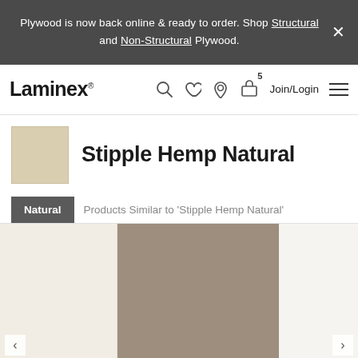Plywood is now back online & ready to order. Shop Structural and Non-Structural Plywood.
[Figure (screenshot): Laminex website navigation bar with logo, search, wishlist, location, basket (5 items), Join/Login and menu icons]
Stipple Hemp Natural
Products Similar to 'Stipple Hemp Natural'
[Figure (photo): Product color swatches carousel showing a beige/tan swatch on left, a dark taupe/brown center swatch, and a partial white/light swatch on the right]